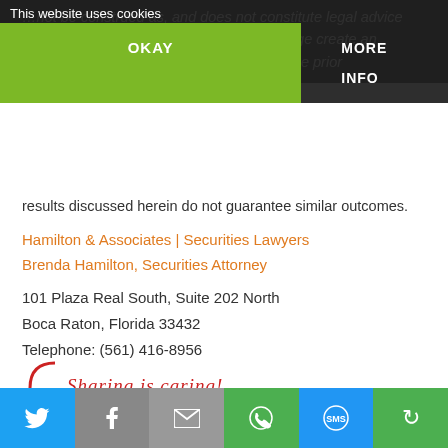...not be construed as, and does not constitute legal advice on any specific matter, nor does this message create an attorney-client relationship. Please review the prior results discussed herein do not guarantee similar outcomes.
Hamilton & Associates | Securities Lawyers
Brenda Hamilton, Securities Attorney
101 Plaza Real South, Suite 202 North
Boca Raton, Florida 33432
Telephone: (561) 416-8956
Facsimile: (561) 416-2855
www.securitieslawyer101.com
[Figure (screenshot): Sharing is caring social share section with Twitter, Facebook, Pinterest, Email, Google+, LinkedIn, and more share buttons in green]
[Figure (screenshot): Bottom sticky sharing bar with Twitter, Facebook, Mail, WhatsApp, SMS, and more buttons]